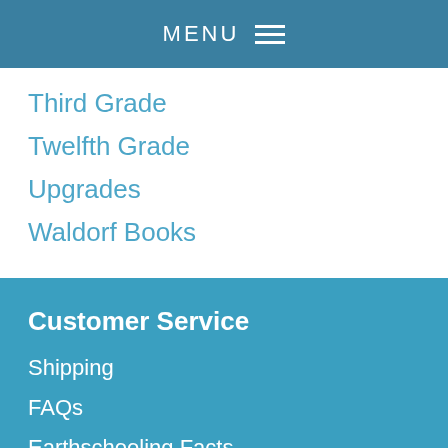MENU
Third Grade
Twelfth Grade
Upgrades
Waldorf Books
Customer Service
Shipping
FAQs
Earthschooling Facts
Contact Us
Member Help
Ask for Help